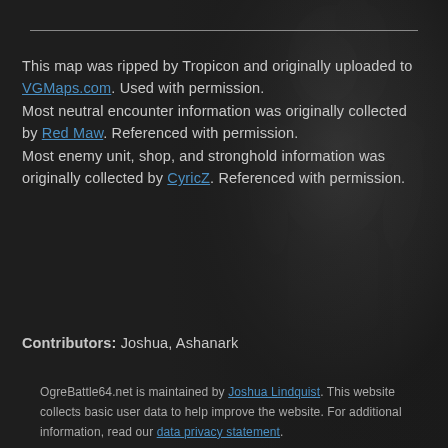[Figure (illustration): Decorative background image of a fantasy armored character/warrior rendered in dark tones on the right side of the page]
This map was ripped by Tropicon and originally uploaded to VGMaps.com. Used with permission. Most neutral encounter information was originally collected by Red Maw. Referenced with permission. Most enemy unit, shop, and stronghold information was originally collected by CyricZ. Referenced with permission.
Contributors: Joshua, Ashanark
OgreBattle64.net is maintained by Joshua Lindquist. This website collects basic user data to help improve the website. For additional information, read our data privacy statement.